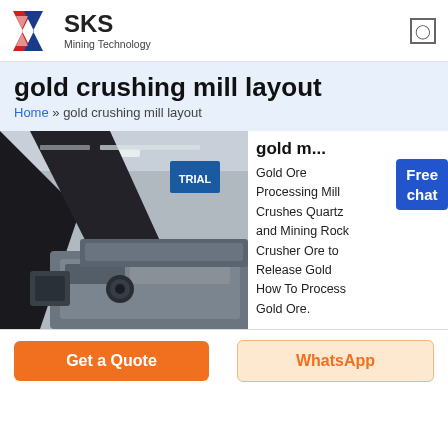[Figure (logo): SKS Mining Technology logo with red and blue shield icon]
gold crushing mill layout
Home » gold crushing mill layout
[Figure (photo): Close-up photo of industrial gold crushing mill machinery in a factory setting]
gold m...
Gold Ore Processing Mill Crushes Quartz and Mining Rock Crusher Ore to Release Gold How To Process Gold Ore.
Get a Quote
WhatsApp